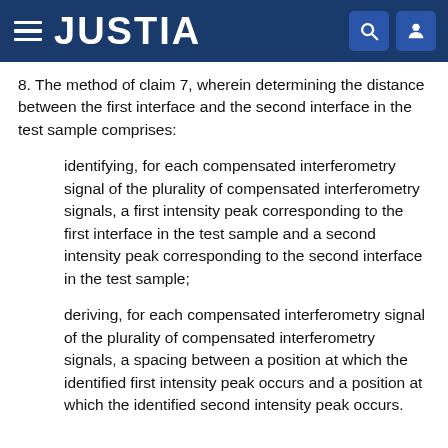JUSTIA
8. The method of claim 7, wherein determining the distance between the first interface and the second interface in the test sample comprises:
identifying, for each compensated interferometry signal of the plurality of compensated interferometry signals, a first intensity peak corresponding to the first interface in the test sample and a second intensity peak corresponding to the second interface in the test sample;
deriving, for each compensated interferometry signal of the plurality of compensated interferometry signals, a spacing between a position at which the identified first intensity peak occurs and a position at which the identified second intensity peak occurs.